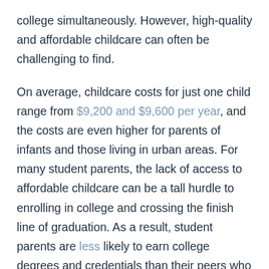college simultaneously. However, high-quality and affordable childcare can often be challenging to find.
On average, childcare costs for just one child range from $9,200 and $9,600 per year, and the costs are even higher for parents of infants and those living in urban areas. For many student parents, the lack of access to affordable childcare can be a tall hurdle to enrolling in college and crossing the finish line of graduation. As a result, student parents are less likely to earn college degrees and credentials than their peers who do not have children and are more likely to default on their loans.
In order to help more student parents graduate and earn credentials from institutions of higher education, Congress